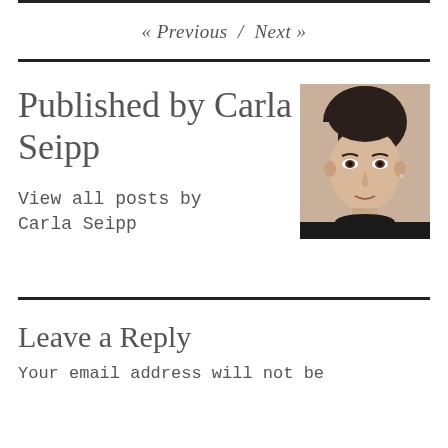« Previous / Next »
Published by Carla Seipp
[Figure (photo): Portrait photo of Carla Seipp, a young woman with dark hair, looking at camera with a neutral expression.]
View all posts by Carla Seipp
Leave a Reply
Your email address will not be